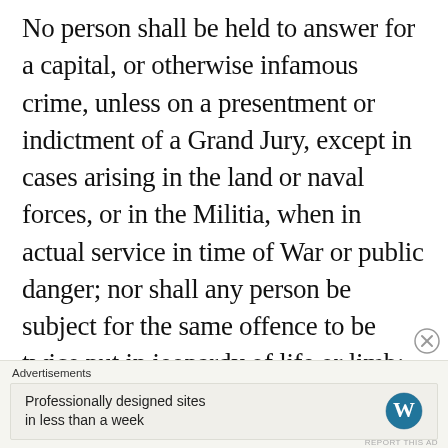No person shall be held to answer for a capital, or otherwise infamous crime, unless on a presentment or indictment of a Grand Jury, except in cases arising in the land or naval forces, or in the Militia, when in actual service in time of War or public danger; nor shall any person be subject for the same offence to be twice put in jeopardy of life or limb; nor shall be compelled in any criminal case to be a witness against himself, nor be deprived of life, liberty, or property, without due process of law; nor shall private property be taken for public use, without just compensation.
Advertisements
Professionally designed sites in less than a week